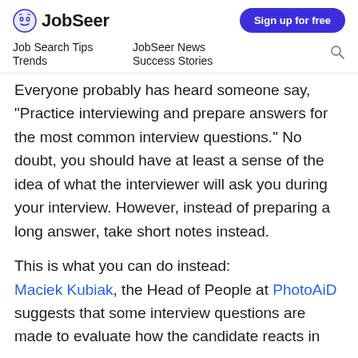JobSeer | Sign up for free
Job Search Tips | JobSeer News | Trends | Success Stories
Everyone probably has heard someone say, “Practice interviewing and prepare answers for the most common interview questions.” No doubt, you should have at least a sense of the idea of what the interviewer will ask you during your interview. However, instead of preparing a long answer, take short notes instead.
This is what you can do instead: Maciek Kubiak, the Head of People at PhotoAiD suggests that some interview questions are made to evaluate how the candidate reacts in